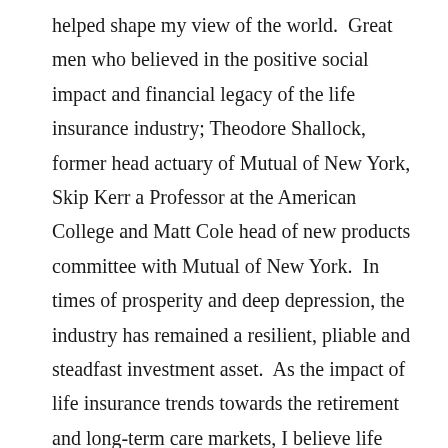helped shape my view of the world.  Great men who believed in the positive social impact and financial legacy of the life insurance industry; Theodore Shallock, former head actuary of Mutual of New York, Skip Kerr a Professor at the American College and Matt Cole head of new products committee with Mutual of New York.  In times of prosperity and deep depression, the industry has remained a resilient, pliable and steadfast investment asset.  As the impact of life insurance trends towards the retirement and long-term care markets, I believe life settlement funds such as NW Life Funds, LP is an agent for positive change and impact, an expressive celebration of life in its many forms.  Join me if you will in this.